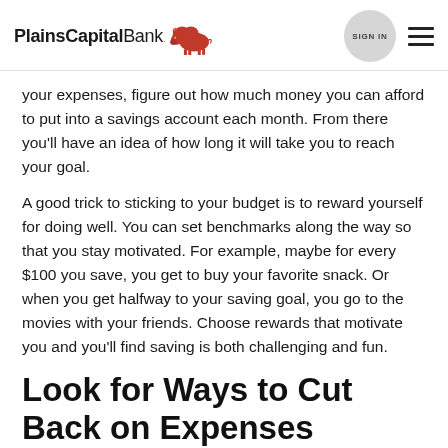PlainsCapitalBank. [bison logo] SIGN IN [menu]
your expenses, figure out how much money you can afford to put into a savings account each month. From there you'll have an idea of how long it will take you to reach your goal.
A good trick to sticking to your budget is to reward yourself for doing well. You can set benchmarks along the way so that you stay motivated. For example, maybe for every $100 you save, you get to buy your favorite snack. Or when you get halfway to your saving goal, you go to the movies with your friends. Choose rewards that motivate you and you'll find saving is both challenging and fun.
Look for Ways to Cut Back on Expenses